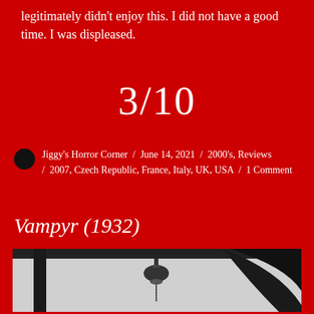legitimately didn't enjoy this. I did not have a good time. I was displeased.
3/10
Jiggy's Horror Corner / June 14, 2021 / 2000's, Reviews / 2007, Czech Republic, France, Italy, UK, USA / 1 Comment
Vampyr (1932)
[Figure (photo): Black and white still from Vampyr (1932) showing a bell hanging from a chain and dark shapes/scythe against a light background]